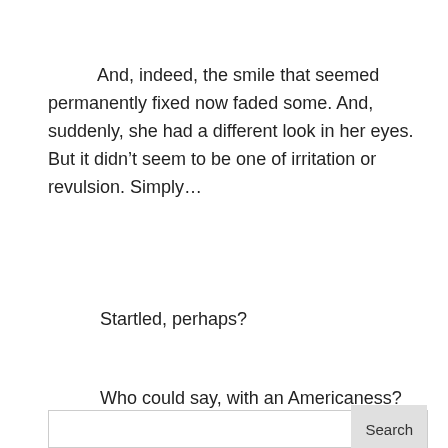And, indeed, the smile that seemed permanently fixed now faded some. And, suddenly, she had a different look in her eyes. But it didn’t seem to be one of irritation or revulsion. Simply…
Startled, perhaps?
Who could say, with an Americaness?